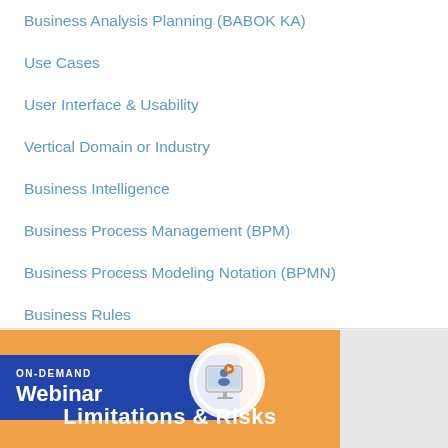Business Analysis Planning (BABOK KA)
Use Cases
User Interface & Usability
Vertical Domain or Industry
Business Intelligence
Business Process Management (BPM)
Business Process Modeling Notation (BPMN)
Business Rules
Career as a Business Systems Analyst
[Figure (infographic): On-Demand Webinar banner with blue badge, monitor icon circle, and text 'Limitations & Risks' on an orange background]